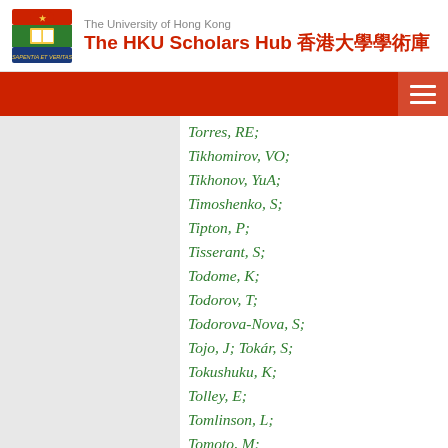The University of Hong Kong — The HKU Scholars Hub 香港大學學術庫
Torres, RE;
Tikhomirov, VO;
Tikhonov, YuA;
Timoshenko, S;
Tipton, P;
Tisserant, S;
Todome, K;
Todorov, T;
Todorova-Nova, S;
Tojo, J; Tokár, S;
Tokushuku, K;
Tolley, E;
Tomlinson, L;
Tomoto, M;
Tompkins, L;
Toms, K; Tong, B;
Tornambe, P;